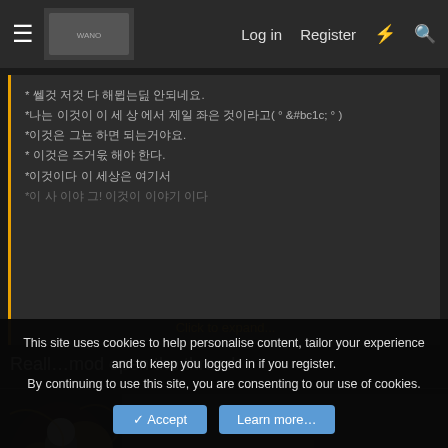Log in  Register
* 이것 저것 다 해봤는데 안되네요.
*나는 이것이 이 세상 에서 제일 좋은 것이라고( ° 발 ° )
*이것은 그냥 하면 되는거야요.
* 이것은 즐거워 해야 한다.
*이것이다 이 세상은 여기서
*이 사 이야 그! 이것이 이야기 이다
Click to expand...
Reall…mod open the thread
Penrsocina
Nami COC
[Figure (illustration): Anime character illustration - silver haired characters with decorative background]
[Figure (illustration): PIRATE HUNTER banner with green-haired anime character]
This site uses cookies to help personalise content, tailor your experience and to keep you logged in if you register.
By continuing to use this site, you are consenting to our use of cookies.
Accept   Learn more...